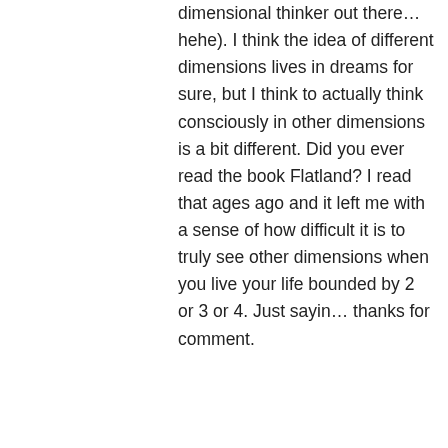dimensional thinker out there… hehe). I think the idea of different dimensions lives in dreams for sure, but I think to actually think consciously in other dimensions is a bit different. Did you ever read the book Flatland? I read that ages ago and it left me with a sense of how difficult it is to truly see other dimensions when you live your life bounded by 2 or 3 or 4. Just sayin… thanks for comment.
★ Like
↳ Reply
Ceorl on March 8, 2012 at 2:38 pm
Great description of a first encounter Yordie. Also thank you for introducing me to a new concept,